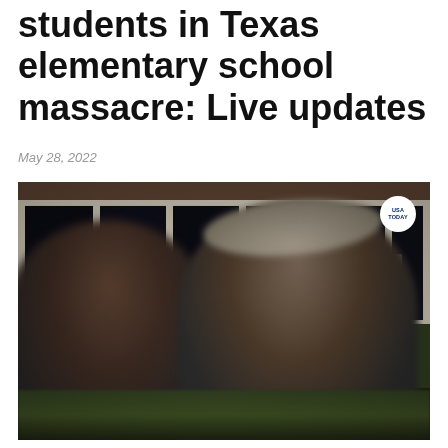students in Texas elementary school massacre: Live updates
May 28, 2022
[Figure (photo): Law enforcement officers in uniform standing in front of an elementary school building with large windows. Two officers are visible in the foreground, blurred, one wearing a cowboy hat. A USA TODAY watermark badge appears in the top-right corner of the image.]